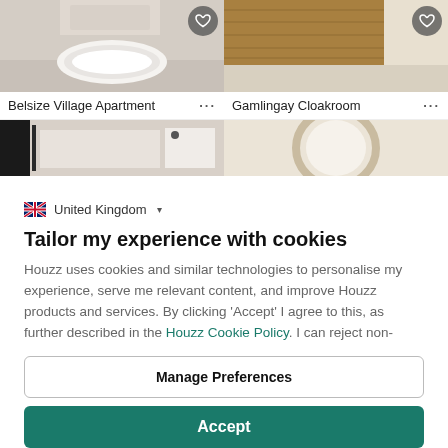[Figure (photo): Two bathroom photos side by side at top: left shows a white basin/sink, right shows wood-grain vanity unit. Both have heart/favorite buttons.]
Belsize Village Apartment   ···
Gamlingay Cloakroom   ···
[Figure (photo): Two more bathroom photos partially visible: left shows a dark towel rail and white furniture, right shows a round mirror.]
🇬🇧 United Kingdom ▾
Tailor my experience with cookies
Houzz uses cookies and similar technologies to personalise my experience, serve me relevant content, and improve Houzz products and services. By clicking 'Accept' I agree to this, as further described in the Houzz Cookie Policy. I can reject non-
Manage Preferences
Accept